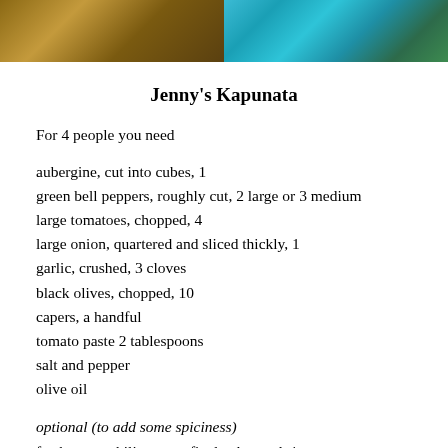[Figure (photo): Two photos side by side: left shows a wooden surface, right shows teal/green containers with herbs]
Jenny's Kapunata
For 4 people you need
aubergine, cut into cubes, 1
green bell peppers, roughly cut, 2 large or 3 medium
large tomatoes, chopped, 4
large onion, quartered and sliced thickly, 1
garlic, crushed, 3 cloves
black olives, chopped, 10
capers, a handful
tomato paste 2 tablespoons
salt and pepper
olive oil
optional (to add some spiciness)
fresh green chili pepper, finely chopped, 1
In a baking dish, mix the aubergine with a splash of olive oil and put under the grill for a few minutes until golden